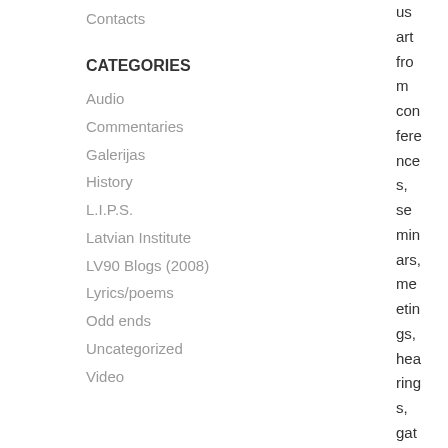Contacts
CATEGORIES
Audio
Commentaries
Galerijas
History
L.I.P.S.
Latvian Institute
LV90 Blogs (2008)
Lyrics/poems
Odd ends
Uncategorized
Video
us art from conferences, seminars, meetings, hearings, gatherings, and other ove